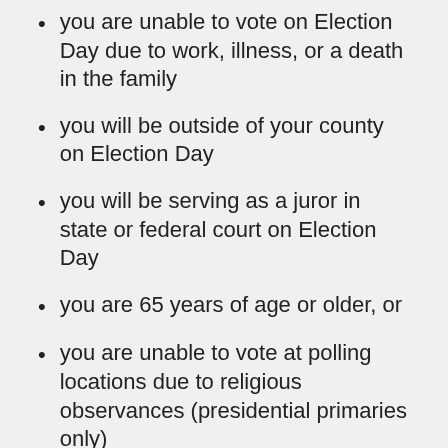you are unable to vote on Election Day due to work, illness, or a death in the family
you will be outside of your county on Election Day
you will be serving as a juror in state or federal court on Election Day
you are 65 years of age or older, or
you are unable to vote at polling locations due to religious observances (presidential primaries only)
you are a member of the Armed Forces, Merchant Marines, American Red Cross, or the spouse or